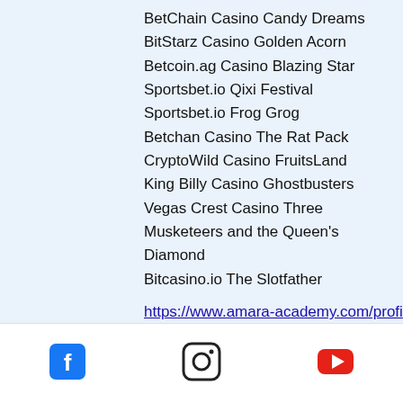BetChain Casino Candy Dreams
BitStarz Casino Golden Acorn
Betcoin.ag Casino Blazing Star
Sportsbet.io Qixi Festival
Sportsbet.io Frog Grog
Betchan Casino The Rat Pack
CryptoWild Casino FruitsLand
King Billy Casino Ghostbusters
Vegas Crest Casino Three Musketeers and the Queen's Diamond
Bitcasino.io The Slotfather
https://www.amara-academy.com/profile/bernardcapels17400253/profile
https://www.n12invest.com/profile/clevelandlyberger3630542/profile
https://www.phoenixmassagegalway.com/profile/katharynkallevig9190764/profile
[Figure (other): Social media icons: Facebook, Instagram, YouTube]